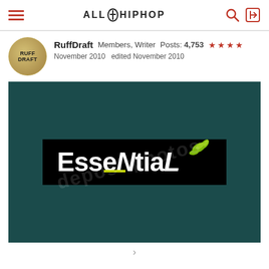ALL HIP HOP
RuffDraft   Members, Writer   Posts: 4,753  ★★★★
November 2010   edited November 2010
[Figure (logo): Dark teal background image containing a black rectangular banner with stylized bold white text reading 'EsseNtiaL' with green leaf graphic at top right corner and a yellow-green underline accent beneath the text. Watermark overlay visible on image.]